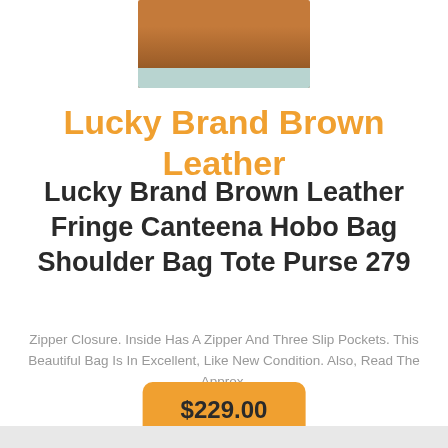[Figure (photo): Partial photo of a brown leather bag, cropped at top of page]
Lucky Brand Brown Leather
Lucky Brand Brown Leather Fringe Canteena Hobo Bag Shoulder Bag Tote Purse 279
Zipper Closure. Inside Has A Zipper And Three Slip Pockets. This Beautiful Bag Is In Excellent, Like New Condition. Also, Read The Approx.
$229.00